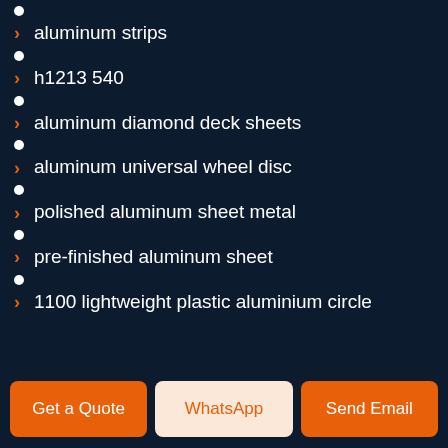aluminum strips
h1213 540
aluminum diamond deck sheets
aluminum universal wheel disc
polished aluminum sheet metal
pre-finished aluminum sheet
1100 lightweight plastic aluminium circle
Get a Quote | WhatsApp | Send Email